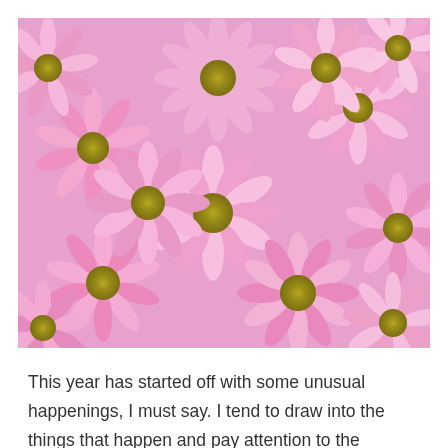[Figure (photo): Close-up photograph of numerous pink daisy-like flowers (chrysanthemums) with yellow-green centers, filling the entire frame in a dense arrangement.]
This year has started off with some unusual happenings, I must say. I tend to draw into the things that happen and pay attention to the